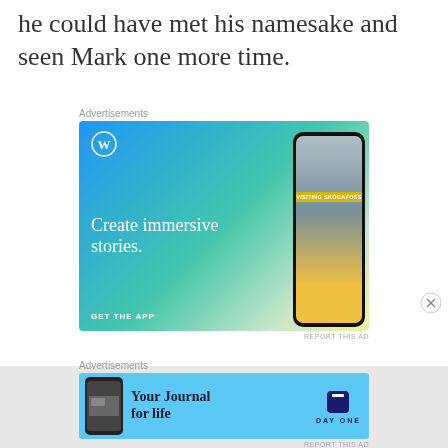he could have met his namesake and seen Mark one more time.
Advertisements
[Figure (illustration): WordPress advertisement with blue-to-yellow gradient background, WordPress logo (W in circle), text 'Create immersive stories.' and 'GET THE APP', with a smartphone mockup showing a waterfall scene with 'VISITING SKÓGAFOSS' banner]
REPORT THIS AD
Advertisements
[Figure (illustration): Day One journal app advertisement with light blue background, smartphone image on left, text 'Your Journal for life', and Day One logo on right]